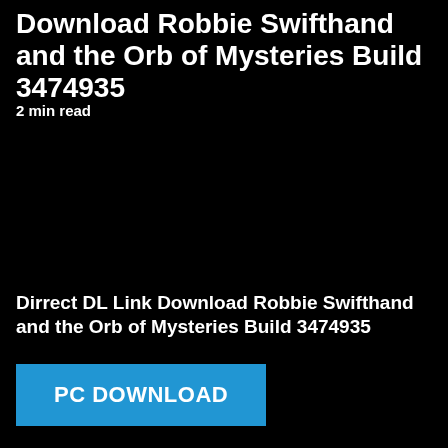Download Robbie Swifthand and the Orb of Mysteries Build 3474935
2 min read
Dirrect DL Link Download Robbie Swifthand and the Orb of Mysteries Build 3474935
PC DOWNLOAD